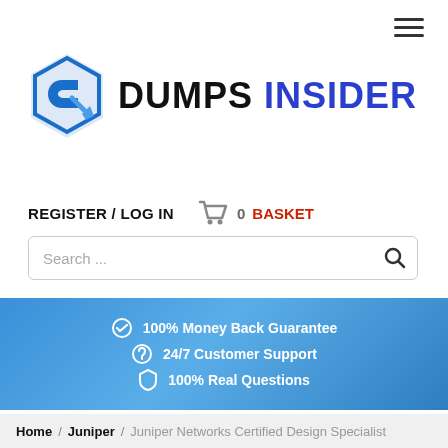[Figure (logo): DumpsInsider logo with blue hexagonal icon and bold text DUMPS INSIDER]
REGISTER / LOG IN   0 BASKET
Search ...
100% Money Back Guarantee
24/7 Customer Support
100% Real Questions
Home / Juniper / Juniper Networks Certified Design Specialist